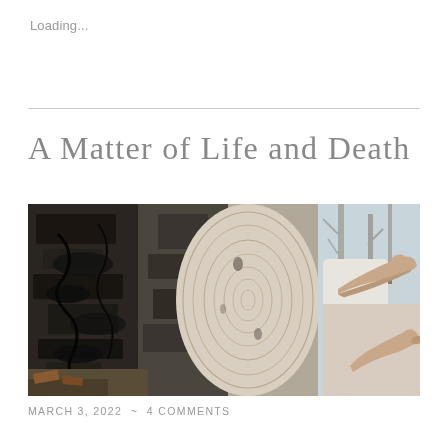Loading...
A Matter of Life and Death
[Figure (photo): Close-up photo of charred black wood on the left side and a pale split log cross-section with tree rings visible on the right, with two hands examining the wood surface outdoors in natural light.]
MARCH 3, 2022  ~  4 COMMENTS